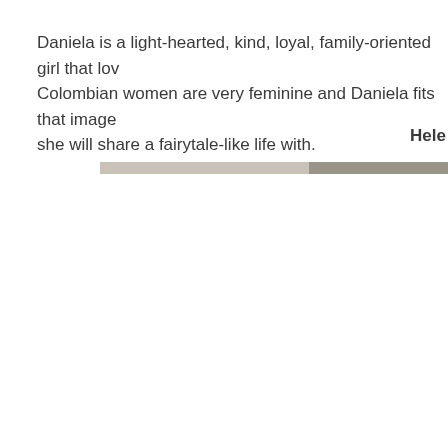Daniela is a light-hearted, kind, loyal, family-oriented girl that lov... Colombian women are very feminine and Daniela fits that image... she will share a fairytale-like life with.
Hele